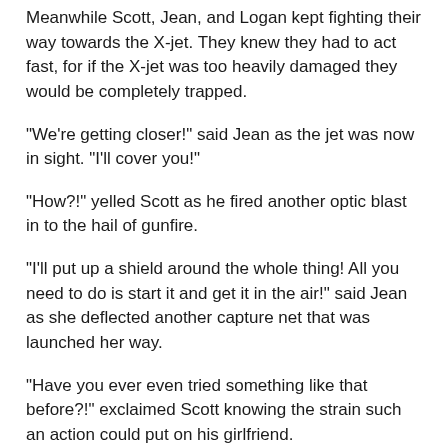Meanwhile Scott, Jean, and Logan kept fighting their way towards the X-jet. They knew they had to act fast, for if the X-jet was too heavily damaged they would be completely trapped.
"We're getting closer!" said Jean as the jet was now in sight. "I'll cover you!"
"How?!" yelled Scott as he fired another optic blast in to the hail of gunfire.
"I'll put up a shield around the whole thing! All you need to do is start it and get it in the air!" said Jean as she deflected another capture net that was launched her way.
"Have you ever even tried something like that before?!" exclaimed Scott knowing the strain such an action could put on his girlfriend.